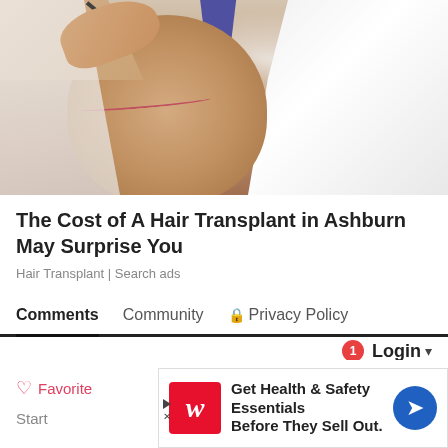[Figure (photo): Doctor in white coat performing hair transplant procedure on a patient's bald head, using tweezers to implant hair follicles. A surgical scar line is visible on the scalp.]
The Cost of A Hair Transplant in Ashburn May Surprise You
Hair Transplant | Search ads
Comments    Community    🔒 Privacy Policy
Login ▾
♡ Favorite    Sort by Best ✕
Start
[Figure (advertisement): Walgreens advertisement: 'Get Health & Safety Essentials Before They Sell Out.' with Walgreens red W logo on left and blue directional arrow logo on right.]